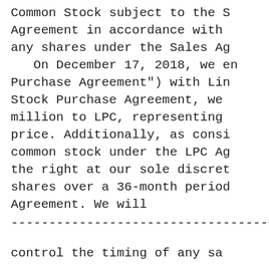Common Stock subject to the S Agreement in accordance with any shares under the Sales Ag    On December 17, 2018, we en Purchase Agreement") with Lin Stock Purchase Agreement, we million to LPC, representing price. Additionally, as consi common stock under the LPC Ag the right at our sole discret shares over a 36-month period Agreement. We will
------------------------------------
control the timing of any sa